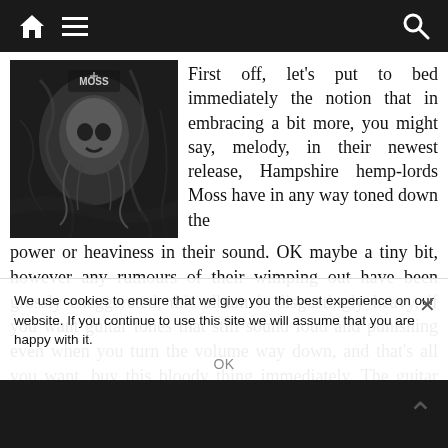Navigation bar with home, menu, and search icons
[Figure (photo): Black and white album cover for Moss — dark, psychedelic artwork featuring a skull-like figure amid organic textures]
First off, let's put to bed immediately the notion that in embracing a bit more, you might say, melody, in their newest release, Hampshire hemp-lords Moss have in any way toned down the power or heaviness in their sound. OK maybe a tiny bit, however any rumours of their wimping out have been grossly exaggerated, this album is disgustingly heavy, if you want guitar tones that still sound loud and punishing even when you turn the volume way down, and that's all you want, buy this bloody thing immediately. The guitar sound on this is heavier than anything recorded by Electric Wizard for one, and most other doom bands for other.
We use cookies to ensure that we give you the best experience on our website. If you continue to use this site we will assume that you are happy with it.
OK